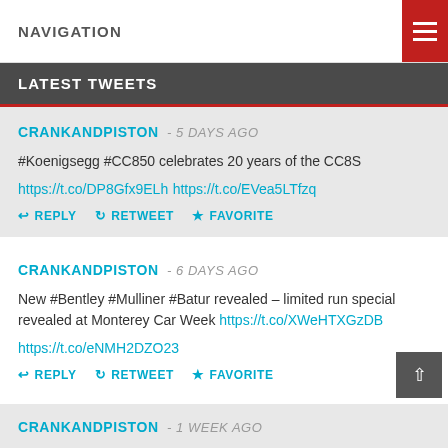NAVIGATION
LATEST TWEETS
CRANKANDPISTON - 5 DAYS AGO
#Koenigsegg #CC850 celebrates 20 years of the CC8S
https://t.co/DP8Gfx9ELh https://t.co/EVea5LTfzq
REPLY RETWEET FAVORITE
CRANKANDPISTON - 6 DAYS AGO
New #Bentley #Mulliner #Batur revealed – limited run special revealed at Monterey Car Week https://t.co/XWeHTXGzDB https://t.co/eNMH2DZO23
REPLY RETWEET FAVORITE
CRANKANDPISTON - 1 WEEK AGO
#Bugatti signs off iconic W16 powertrain with the new //Mistr…